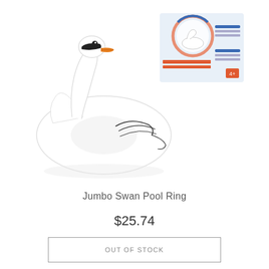[Figure (photo): White inflatable swan pool ring float with orange beak and black eye details, shown with product box in top right corner. The box shows the swan float illustration with blue/orange packaging.]
Jumbo Swan Pool Ring
$25.74
OUT OF STOCK